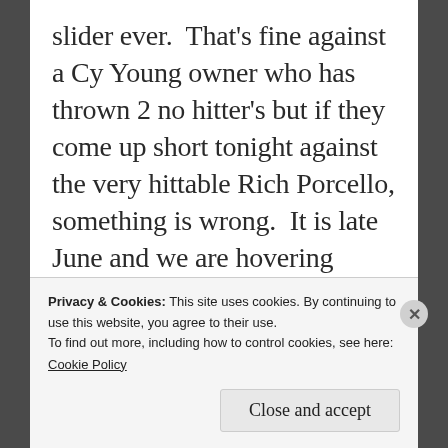slider ever.  That's fine against a Cy Young owner who has thrown 2 no hitter's but if they come up short tonight against the very hittable Rich Porcello, something is wrong.  It is late June and we are hovering around .500.   It's a problem that needs to be fixed first with
Privacy & Cookies: This site uses cookies. By continuing to use this website, you agree to their use.
To find out more, including how to control cookies, see here: Cookie Policy
Close and accept